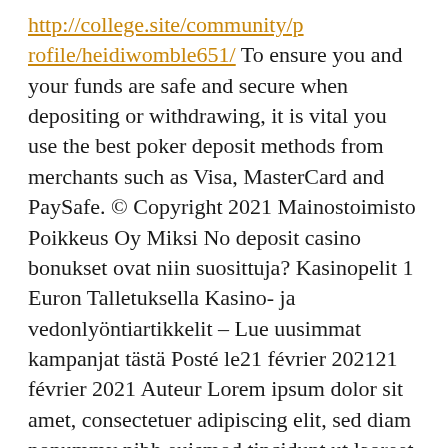http://college.site/community/profile/heidiwomble651/ To ensure you and your funds are safe and secure when depositing or withdrawing, it is vital you use the best poker deposit methods from merchants such as Visa, MasterCard and PaySafe. © Copyright 2021 Mainostoimisto Poikkeus Oy Miksi No deposit casino bonukset ovat niin suosittuja? Kasinopelit 1 Euron Talletuksella Kasino- ja vedonlyöntiartikkelit – Lue uusimmat kampanjat tästä Posté le21 février 202121 février 2021 Auteur Lorem ipsum dolor sit amet, consectetuer adipiscing elit, sed diam nonummy nibh euismod tincidunt ut laoreet dolore magna aliquam erat volutpat. Ut wisi enim ad minim veniam, quis nostrud exerci tation ullamcorper suscipit lobortis nisl ut